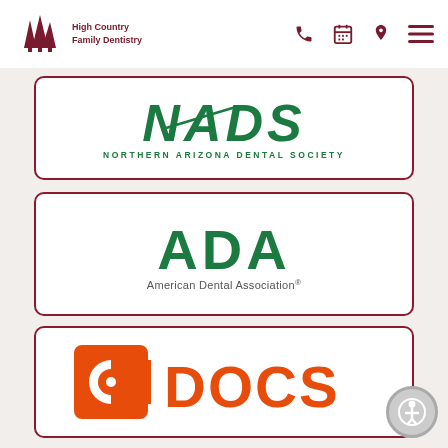[Figure (logo): High Country Family Dentistry logo with tree silhouettes and text]
[Figure (logo): NADS - Northern Arizona Dental Society logo in green]
[Figure (logo): ADA - American Dental Association logo in green]
[Figure (logo): C DOCS logo in orange]